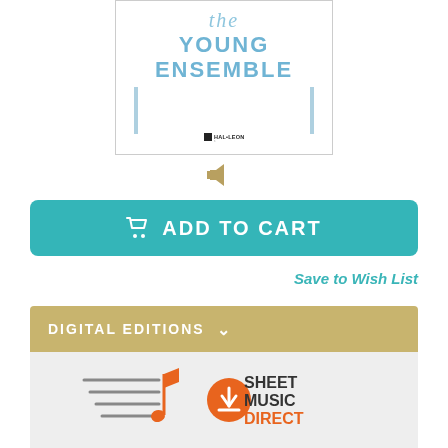[Figure (illustration): Book cover for 'The Young Ensemble' published by Hal Leonard, with blue title text and decorative vertical lines]
[Figure (other): Speaker/audio icon in golden/tan color]
ADD TO CART
Save to Wish List
DIGITAL EDITIONS
[Figure (logo): Sheet Music Direct logo with musical note icon and download button]